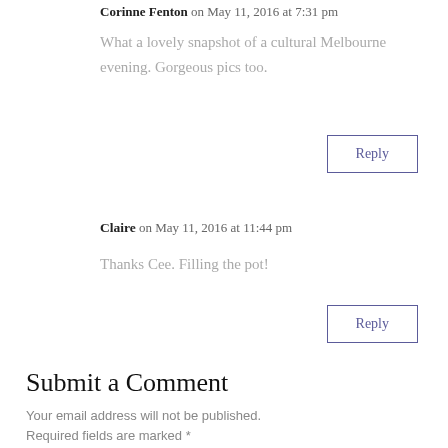Corinne Fenton on May 11, 2016 at 7:31 pm
What a lovely snapshot of a cultural Melbourne evening. Gorgeous pics too.
Reply
Claire on May 11, 2016 at 11:44 pm
Thanks Cee. Filling the pot!
Reply
Submit a Comment
Your email address will not be published.
Required fields are marked *